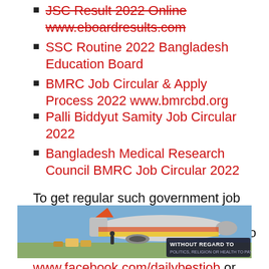JSC Result 2022 Online www.eboardresults.com
SSC Routine 2022 Bangladesh Education Board
BMRC Job Circular & Apply Process 2022 www.bmrcbd.org
Palli Biddyut Samity Job Circular 2022
Bangladesh Medical Research Council BMRC Job Circular 2022
To get regular such government job circular stay with our page and share our post to your timeline. You can also comment on our Facebook page at www.facebook.com/dailybestjob or message to our Facebook page directly to contact us. Thanks for being with us. Visit our website to get further notice about this Bangladesh Ansar VDP Job Circular & Online and at
[Figure (photo): Advertisement banner showing an airplane being loaded with cargo, with text 'WITHOUT REGARD TO POLITICS, RELIGION OR HEALTH TO PAY']